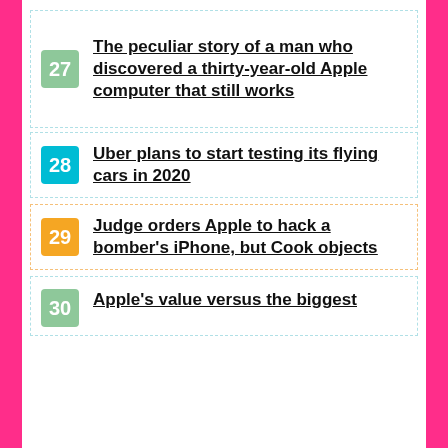27 The peculiar story of a man who discovered a thirty-year-old Apple computer that still works
28 Uber plans to start testing its flying cars in 2020
29 Judge orders Apple to hack a bomber's iPhone, but Cook objects
30 Apple's value versus the biggest